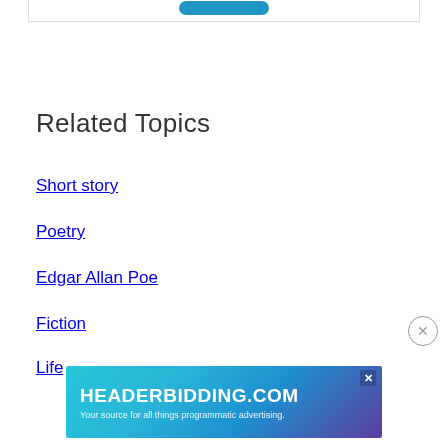[Figure (screenshot): Top portion of a card/box with a teal/blue rounded button visible at the bottom edge]
Related Topics
Short story
Poetry
Edgar Allan Poe
Fiction
Life
[Figure (screenshot): Advertisement banner for HEADERBIDDING.COM — Your source for all things programmatic advertising. Teal/purple gradient background with geometric pattern.]